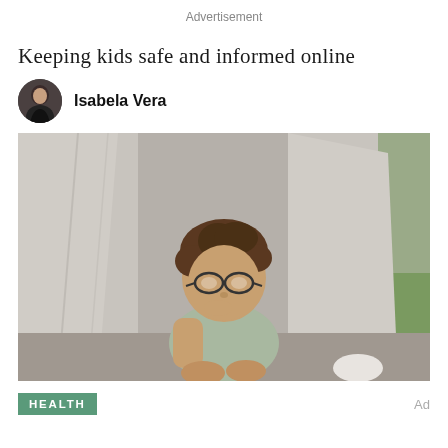Advertisement
Keeping kids safe and informed online
Isabela Vera
[Figure (photo): A young child with brown curly hair and round glasses sitting inside a fabric tent or teepee, wearing a light green shirt, outdoors with green grass visible in the background.]
HEALTH
Ad